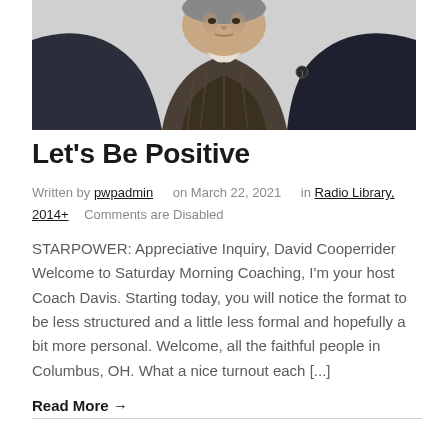[Figure (photo): Portrait photo of a man wearing a dark blazer over a plaid shirt, photographed against a white background. Only the upper body and head are visible.]
Let's Be Positive
Written by pwpadmin   on March 22, 2021    in Radio Library, 2014+    Comments are Disabled
STARPOWER:  Appreciative Inquiry, David Cooperrider  Welcome to Saturday Morning Coaching, I'm your host Coach Davis.  Starting today, you will notice the format to be less structured and a little less formal and hopefully a bit more personal.  Welcome, all the faithful people in Columbus, OH.  What a nice turnout each [...]
Read More →